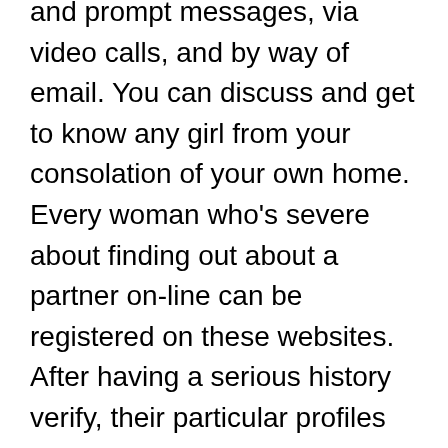and prompt messages, via video calls, and by way of email. You can discuss and get to know any girl from your consolation of your own home. Every woman who's severe about finding out about a partner on-line can be registered on these websites. After having a serious history verify, their particular profiles happen to be shown on-line. In a globe the place all things has prolonged turn out to be digital, a conventional means of meeting your companion can be slowly however certainly changing into obsolete.
Iran is known as a various land consisting of various religious and ethnic communities which would possibly end up being unified by using a shared Local language and tradition. A very important factor that may help to make a local girl